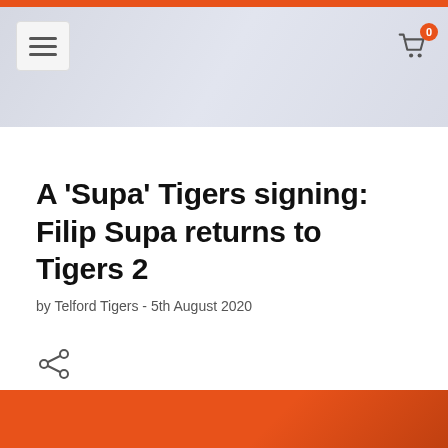A ‘Supa’ Tigers signing: Filip Supa returns to Tigers 2
by Telford Tigers - 5th August 2020
[Figure (photo): Orange background article hero image partially visible at bottom of page]